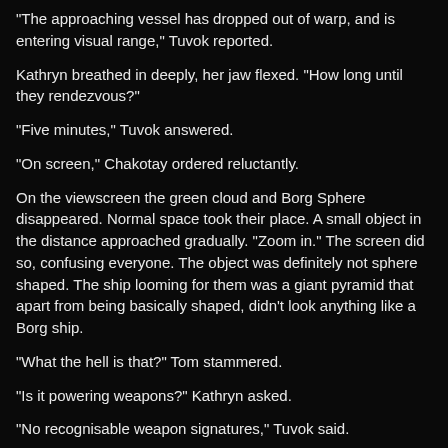"The approaching vessel has dropped out of warp, and is entering visual range," Tuvok reported.
Kathryn breathed in deeply, her jaw flexed. "How long until they rendezvous?"
"Five minutes," Tuvok answered.
"On screen," Chakotay ordered reluctantly.
On the viewscreen the green cloud and Borg Sphere disappeared. Normal space took their place. A small object in the distance approached gradually. "Zoom in." The screen did so, confusing everyone. The object was definitely not sphere shaped. The ship looming for them was a giant pyramid that apart from being basically shaped, didn't look anything like a Borg ship.
"What the hell is that?" Tom stammered.
"Is it powering weapons?" Kathryn asked.
"No recognisable weapon signatures," Tuvok said.
The turbolift doors next to him opened. Morgan was the first to rush out of it. She stared at the viewscreen with her eyes confused and wide. James and Craig followed her.
"Try hailing them," Kathryn said.
Tuvok did as he was told. "No response."